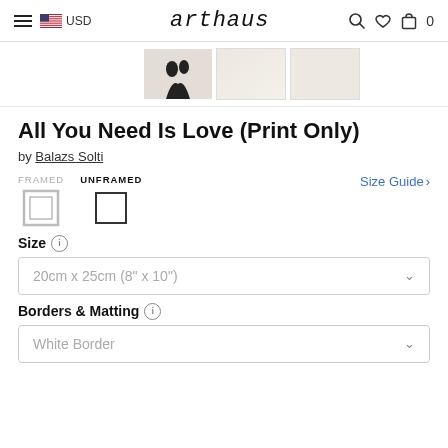arthaus — USD
[Figure (photo): Thumbnail images of the artwork: silhouette of couple, and two texture/material close-ups]
All You Need Is Love (Print Only)
by Balazs Solti
FRAMED  UNFRAMED  Size Guide >
Size (i)
20cm x 25cm (8" x 10")
Borders & Matting (i)
White Border